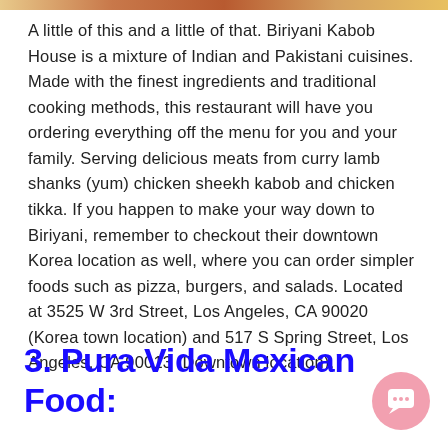[Figure (photo): Partial view of food image at the top of the page (cropped strip showing Indian/Pakistani food)]
A little of this and a little of that. Biriyani Kabob House is a mixture of Indian and Pakistani cuisines. Made with the finest ingredients and traditional cooking methods, this restaurant will have you ordering everything off the menu for you and your family. Serving delicious meats from curry lamb shanks (yum) chicken sheekh kabob and chicken tikka. If you happen to make your way down to Biriyani, remember to checkout their downtown Korea location as well, where you can order simpler foods such as pizza, burgers, and salads. Located at 3525 W 3rd Street, Los Angeles, CA 90020 (Korea town location) and 517 S Spring Street, Los Angeles, CA 90013 (Downtown location).
3. Pura Vida Mexican Food: